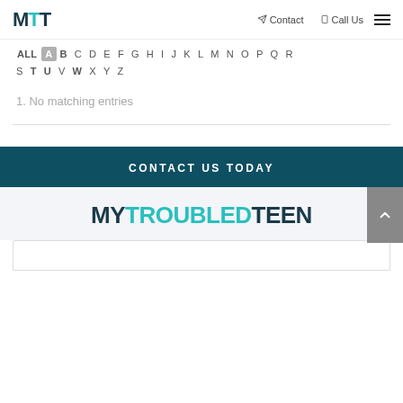MTT | Contact | Call Us
ALL A B C D E F G H I J K L M N O P Q R S T U V W X Y Z
1. No matching entries
CONTACT US TODAY
[Figure (logo): MYTROUBLEDTEEN logo with teal colored letters M, Y, T, R, O, U, B, L, E, D and dark colored T, E, E, N]